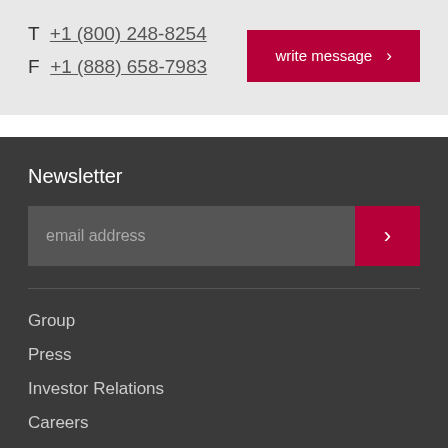T +1 (800) 248-8254
F +1 (888) 658-7983
write message ›
Newsletter
email address
Group
Press
Investor Relations
Careers